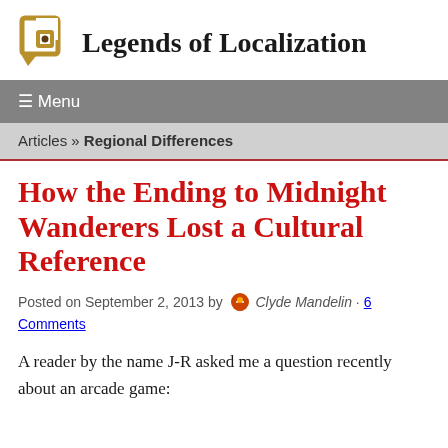Legends of Localization
≡ Menu
Articles » Regional Differences
How the Ending to Midnight Wanderers Lost a Cultural Reference
Posted on September 2, 2013 by Clyde Mandelin · 6 Comments
A reader by the name J-R asked me a question recently about an arcade game: